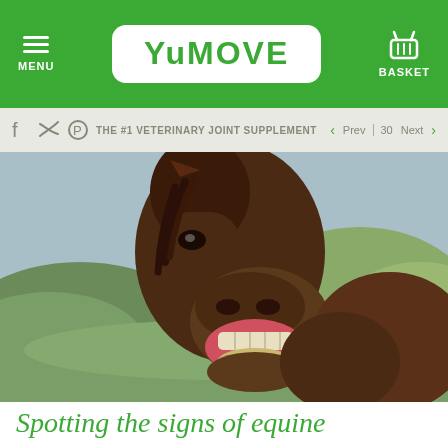MENU | YUMOVE | BASKET
THE #1 VETERINARY JOINT SUPPLEMENT | Prev 30 Next
[Figure (photo): Close-up photo of a brown horse/donkey with its mouth wide open showing teeth, set against a green hilly landscape background.]
Spotting the signs of equine